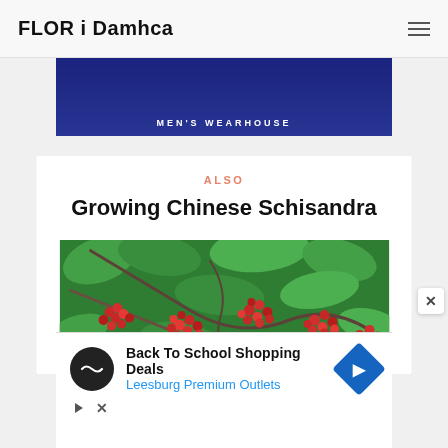FLOR i Damhca
[Figure (photo): Men's Wearhouse advertisement banner — dark navy background with text 'MEN'S WEARHOUSE']
ALSO
Growing Chinese Schisandra
[Figure (photo): Photo of Chinese Schisandra plant with clusters of red berries and green leaves]
[Figure (screenshot): Advertisement: Back To School Shopping Deals — Leesburg Premium Outlets, with circular logo and blue diamond navigation icon]